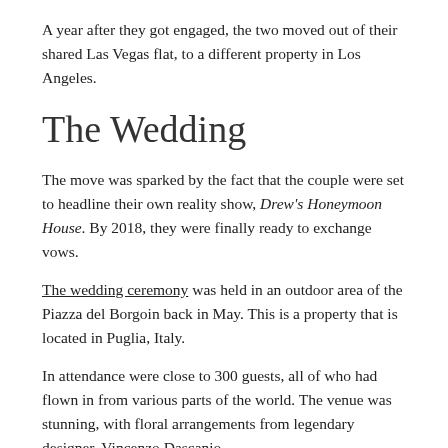A year after they got engaged, the two moved out of their shared Las Vegas flat, to a different property in Los Angeles.
The Wedding
The move was sparked by the fact that the couple were set to headline their own reality show, Drew's Honeymoon House. By 2018, they were finally ready to exchange vows.
The wedding ceremony was held in an outdoor area of the Piazza del Borgoin back in May. This is a property that is located in Puglia, Italy.
In attendance were close to 300 guests, all of who had flown in from various parts of the world. The venue was stunning, with floral arrangements from legendary designer, Vincenzo Dascanio.